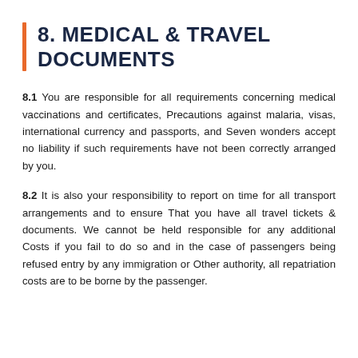8. MEDICAL & TRAVEL DOCUMENTS
8.1 You are responsible for all requirements concerning medical vaccinations and certificates, Precautions against malaria, visas, international currency and passports, and Seven wonders accept no liability if such requirements have not been correctly arranged by you.
8.2 It is also your responsibility to report on time for all transport arrangements and to ensure That you have all travel tickets & documents. We cannot be held responsible for any additional Costs if you fail to do so and in the case of passengers being refused entry by any immigration or Other authority, all repatriation costs are to be borne by the passenger.